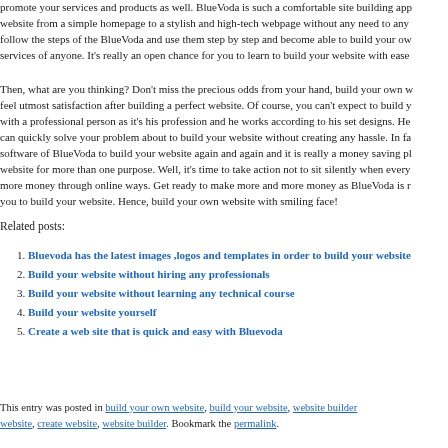promote your services and products as well. BlueVoda is such a comfortable site building app website from a simple homepage to a stylish and high-tech webpage without any need to any follow the steps of the BlueVoda and use them step by step and become able to build your ow services of anyone. It's really an open chance for you to learn to build your website with ease
Then, what are you thinking? Don't miss the precious odds from your hand, build your own w feel utmost satisfaction after building a perfect website. Of course, you can't expect to build y with a professional person as it's his profession and he works according to his set designs. He can quickly solve your problem about to build your website without creating any hassle. In fa software of BlueVoda to build your website again and again and it is really a money saving pl website for more than one purpose. Well, it's time to take action not to sit silently when every more money through online ways. Get ready to make more and more money as BlueVoda is r you to build your website. Hence, build your own website with smiling face!
Related posts:
Bluevoda has the latest images ,logos and templates in order to build your website
Build your website without hiring any professionals
Build your website without learning any technical course
Build your website yourself
Create a web site that is quick and easy with Bluevoda
This entry was posted in build your own website, build your website, website builder website, create website, website builder. Bookmark the permalink.